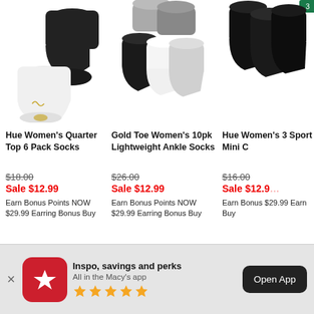[Figure (photo): Hue Women's Quarter Top 6 Pack Socks - black and white ankle socks]
Hue Women's Quarter Top 6 Pack Socks
$18.00 Sale $12.99 Earn Bonus Points NOW $29.99 Earring Bonus Buy
[Figure (photo): Gold Toe Women's 10pk Lightweight Ankle Socks - black, white, grey socks]
Gold Toe Women's 10pk Lightweight Ankle Socks
$26.00 Sale $12.99 Earn Bonus Points NOW $29.99 Earring Bonus Buy
[Figure (photo): Hue Women's 3pk Sport Mini - black socks (partially visible)]
Hue Women's 3 Sport Mini C
$16.00 Sale $12.99 Earn Bonus Points NOW $29.99 Earn Buy
[Figure (infographic): Macy's App download banner with star icon, Inspo savings and perks text, 5 star rating, and Open App button]